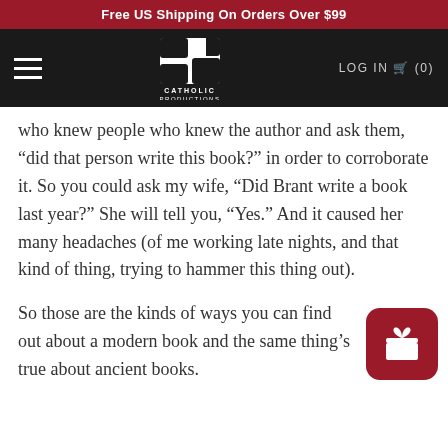Free US Shipping On Orders Over $99
[Figure (logo): Catholic Productions logo — CP letters in white on dark background with 'CATHOLIC PRODUCTIONS' text below]
who knew people who knew the author and ask them, “did that person write this book?” in order to corroborate it. So you could ask my wife, “Did Brant write a book last year?” She will tell you, “Yes.” And it caused her many headaches (of me working late nights, and that kind of thing, trying to hammer this thing out).
So those are the kinds of ways you can find out about a modern book and the same thing’s true about ancient books.